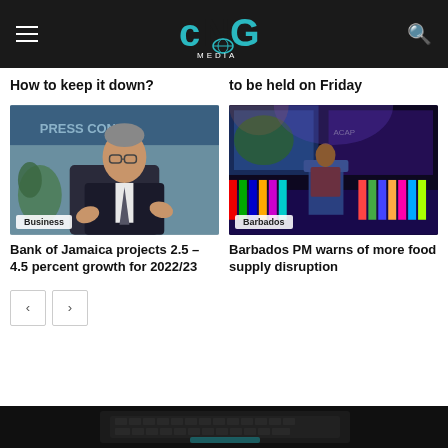CNG Media
How to keep it down?
to be held on Friday
[Figure (photo): Man in suit sitting at a press conference, gesturing with hands, with a 'PRESS CONFERENCE' banner visible in the background. Category label: Business.]
[Figure (photo): Person speaking at a podium on a stage with colorful international flags in the background at what appears to be a Caribbean conference. Category label: Barbados.]
Bank of Jamaica projects 2.5 – 4.5 percent growth for 2022/23
Barbados PM warns of more food supply disruption
[Figure (photo): Dark bottom strip image showing a laptop keyboard with teal/cyan accents.]